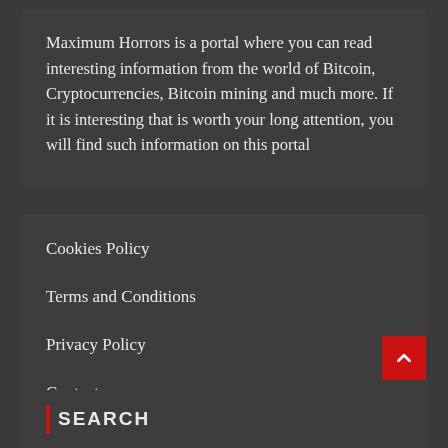Maximum Horrors is a portal where you can read interesting information from the world of Bitcoin, Cryptocurrencies, Bitcoin mining and much more. If it is interesting that is worth your long attention, you will find such information on this portal
Cookies Policy
Terms and Conditions
Privacy Policy
Contact
SEARCH